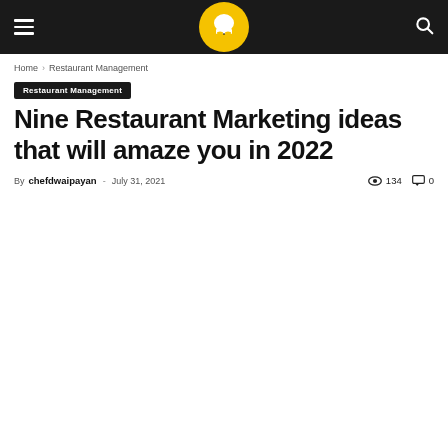Restaurant blog header with navigation, logo, and search
Home › Restaurant Management
Restaurant Management
Nine Restaurant Marketing ideas that will amaze you in 2022
By chefdwaipayan - July 31, 2021  134  0